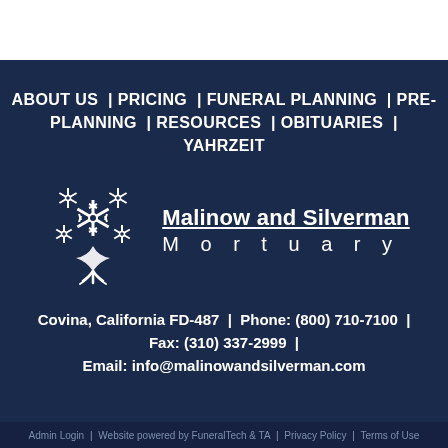ABOUT US | PRICING | FUNERAL PLANNING | PRE-PLANNING | RESOURCES | OBITUARIES | YAHRZEIT
[Figure (logo): Malinow and Silverman Mortuary logo: a white stylized tree with Star of David snowflake shapes forming the canopy, with flowing roots at the base. Beside it: 'Malinow and Silverman Mortuary' in white text.]
Covina, California FD-487  |  Phone: (800) 710-7100  |  Fax: (310) 337-2999  |  Email: info@malinowandsilverman.com
Admin Login | Website powered by FuneralTech & TA | Privacy Policy | Terms of Use